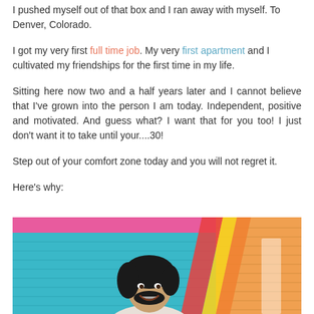I pushed myself out of that box and I ran away with myself. To Denver, Colorado.
I got my very first full time job. My very first apartment and I cultivated my friendships for the first time in my life.
Sitting here now two and a half years later and I cannot believe that I've grown into the person I am today. Independent, positive and motivated. And guess what? I want that for you too! I just don't want it to take until your....30!
Step out of your comfort zone today and you will not regret it.
Here's why:
[Figure (photo): A smiling woman with dark curly hair standing in front of a colorful striped wall with blue, pink, orange, and red stripes]